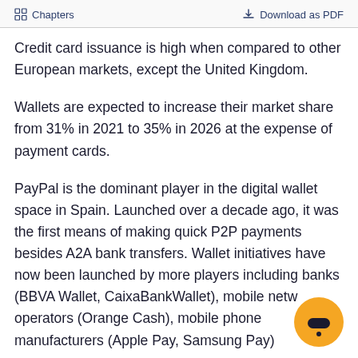Chapters   Download as PDF
Credit card issuance is high when compared to other European markets, except the United Kingdom.
Wallets are expected to increase their market share from 31% in 2021 to 35% in 2026 at the expense of payment cards.
PayPal is the dominant player in the digital wallet space in Spain. Launched over a decade ago, it was the first means of making quick P2P payments besides A2A bank transfers. Wallet initiatives have now been launched by more players including banks (BBVA Wallet, CaixaBankWallet), mobile network operators (Orange Cash), mobile phone manufacturers (Apple Pay, Samsung Pay)